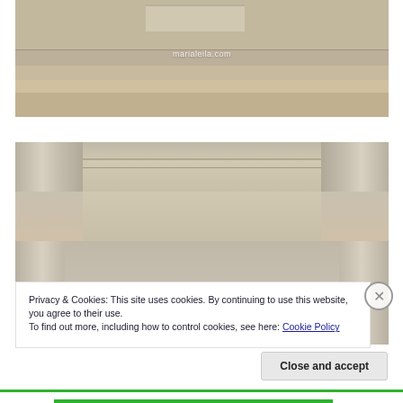[Figure (photo): Close-up photograph of ancient stone steps and architectural base, with watermark 'marialeila.com' overlaid in white text]
[Figure (photo): Close-up photograph of ornate classical architectural facade with Corinthian columns, decorative frieze with relief carvings of foliage, and an arched doorway]
Privacy & Cookies: This site uses cookies. By continuing to use this website, you agree to their use.
To find out more, including how to control cookies, see here: Cookie Policy
Close and accept